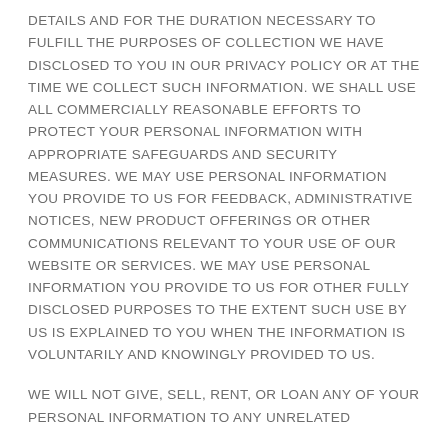DETAILS AND FOR THE DURATION NECESSARY TO FULFILL THE PURPOSES OF COLLECTION WE HAVE DISCLOSED TO YOU IN OUR PRIVACY POLICY OR AT THE TIME WE COLLECT SUCH INFORMATION. WE SHALL USE ALL COMMERCIALLY REASONABLE EFFORTS TO PROTECT YOUR PERSONAL INFORMATION WITH APPROPRIATE SAFEGUARDS AND SECURITY MEASURES. WE MAY USE PERSONAL INFORMATION YOU PROVIDE TO US FOR FEEDBACK, ADMINISTRATIVE NOTICES, NEW PRODUCT OFFERINGS OR OTHER COMMUNICATIONS RELEVANT TO YOUR USE OF OUR WEBSITE OR SERVICES. WE MAY USE PERSONAL INFORMATION YOU PROVIDE TO US FOR OTHER FULLY DISCLOSED PURPOSES TO THE EXTENT SUCH USE BY US IS EXPLAINED TO YOU WHEN THE INFORMATION IS VOLUNTARILY AND KNOWINGLY PROVIDED TO US.
WE WILL NOT GIVE, SELL, RENT, OR LOAN ANY OF YOUR PERSONAL INFORMATION TO ANY UNRELATED